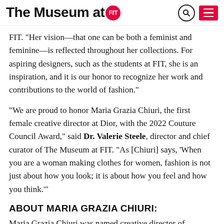The Museum at FIT
FIT. "Her vision—that one can be both a feminist and feminine—is reflected throughout her collections. For aspiring designers, such as the students at FIT, she is an inspiration, and it is our honor to recognize her work and contributions to the world of fashion."
"We are proud to honor Maria Grazia Chiuri, the first female creative director at Dior, with the 2022 Couture Council Award," said Dr. Valerie Steele, director and chief curator of The Museum at FIT. "As [Chiuri] says, 'When you are a woman making clothes for women, fashion is not just about how you look; it is about how you feel and how you think.'"
ABOUT MARIA GRAZIA CHIURI:
Maria Grazia Chiuri was named creative director of